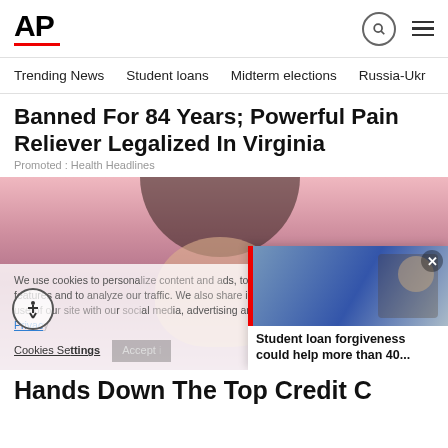AP
Trending News   Student loans   Midterm elections   Russia-Ukr
Banned For 84 Years; Powerful Pain Reliever Legalized In Virginia
Promoted : Health Headlines
[Figure (photo): Woman with dark hair smiling, pink background, holding something yellow. Cookie consent overlay partially obscuring image. Video overlay popup showing Student loan forgiveness could help more than 40... with image of a politician speaking.]
We use cookies to personalize content and ads, to provide social media features and to analyze our traffic. We also share information about your use of our site with our social media, advertising and analytics partners. Privacy Policy
Cookies Settings   Accept
Student loan forgiveness could help more than 40...
Hands Down The Top Credit C